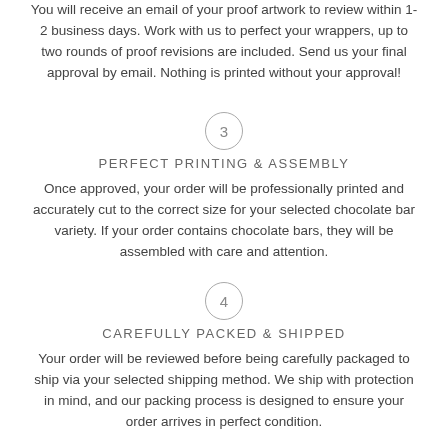You will receive an email of your proof artwork to review within 1-2 business days. Work with us to perfect your wrappers, up to two rounds of proof revisions are included. Send us your final approval by email. Nothing is printed without your approval!
PERFECT PRINTING & ASSEMBLY
Once approved, your order will be professionally printed and accurately cut to the correct size for your selected chocolate bar variety. If your order contains chocolate bars, they will be assembled with care and attention.
CAREFULLY PACKED & SHIPPED
Your order will be reviewed before being carefully packaged to ship via your selected shipping method. We ship with protection in mind, and our packing process is designed to ensure your order arrives in perfect condition.